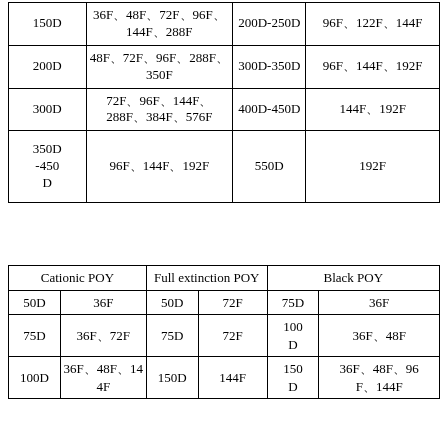| Col1 | Col2 | Col3 | Col4 |
| --- | --- | --- | --- |
| 150D | 36F、48F、72F、96F、144F、288F | 200D-250D | 96F、122F、144F |
| 200D | 48F、72F、96F、288F、350F | 300D-350D | 96F、144F、192F |
| 300D | 72F、96F、144F、288F、384F、576F | 400D-450D | 144F、192F |
| 350D-450D | 96F、144F、192F | 550D | 192F |
| Cationic POY |  | Full extinction POY |  | Black POY |  |
| --- | --- | --- | --- | --- | --- |
| 50D | 36F | 50D | 72F | 75D | 36F |
| 75D | 36F、72F | 75D | 72F | 100D | 36F、48F |
| 100D | 36F、48F、144F | 150D | 144F | 150D | 36F、48F、96F、144F |